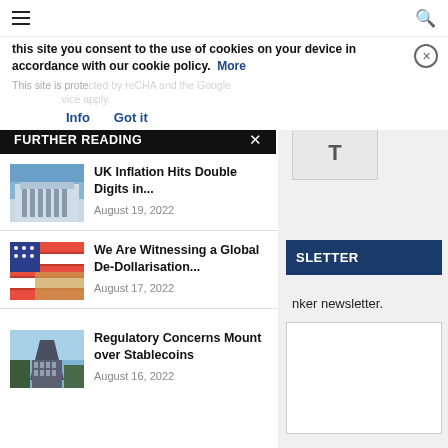this site you consent to the use of cookies on your device in accordance with our cookie policy.  More
This site is protected by reCHA and the Google ... service apply.
Info   Got it
FURTHER READING
[Figure (photo): UK bank building with columns]
UK Inflation Hits Double Digits in...
August 19, 2022
[Figure (photo): American flag with dollar bills]
We Are Witnessing a Global De-Dollarisation...
August 17, 2022
[Figure (photo): Modern glass skyscraper against cloudy sky]
Regulatory Concerns Mount over Stablecoins
August 16, 2022
SLETTER
nker newsletter.